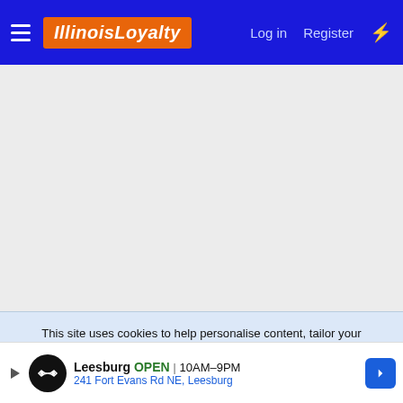IllinoisLoyalty — Log in  Register
[Figure (screenshot): Gray content/ad area placeholder]
This site uses cookies to help personalise content, tailor your experience and to keep you logged in if you register.
By continuing to use this site, you are consenting to our use of cookies.
Accept  Learn more...
Share:
[Figure (infographic): Leesburg ad banner: OPEN 10AM-9PM, 241 Fort Evans Rd NE, Leesburg]